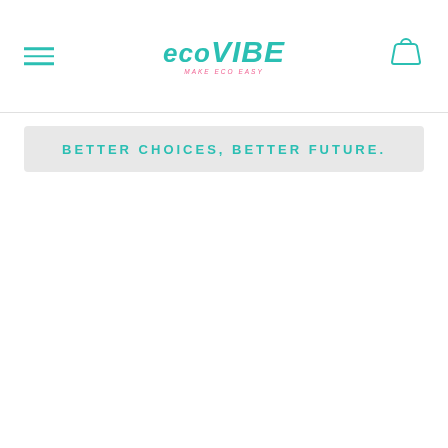EcoVibe - Make Eco Easy
BETTER CHOICES, BETTER FUTURE.